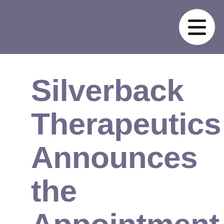Silverback Therapeutics Announces the Appointment of Dr. Maria Koehler to its Board of